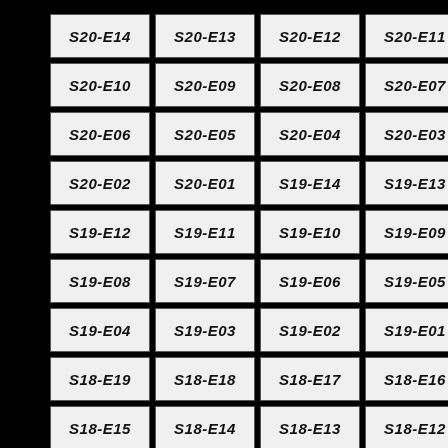S20-E14
S20-E13
S20-E12
S20-E11
S20-E10
S20-E09
S20-E08
S20-E07
S20-E06
S20-E05
S20-E04
S20-E03
S20-E02
S20-E01
S19-E14
S19-E13
S19-E12
S19-E11
S19-E10
S19-E09
S19-E08
S19-E07
S19-E06
S19-E05
S19-E04
S19-E03
S19-E02
S19-E01
S18-E19
S18-E18
S18-E17
S18-E16
S18-E15
S18-E14
S18-E13
S18-E12
S18-E11
S18-E10
S18-E09
S18-E08